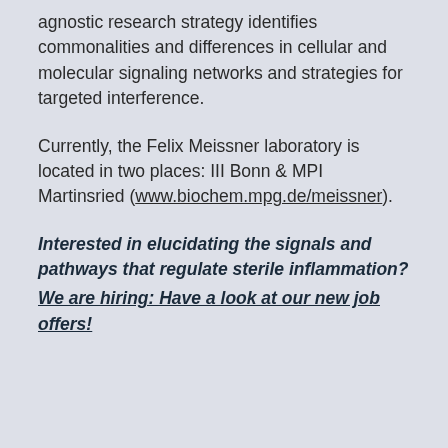agnostic research strategy identifies commonalities and differences in cellular and molecular signaling networks and strategies for targeted interference.
Currently, the Felix Meissner laboratory is located in two places: III Bonn & MPI Martinsried (www.biochem.mpg.de/meissner).
Interested in elucidating the signals and pathways that regulate sterile inflammation? We are hiring: Have a look at our new job offers!